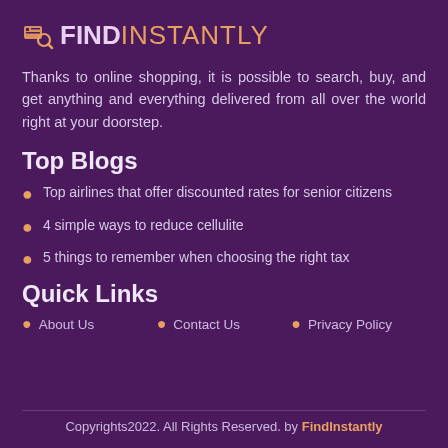[Figure (logo): FindInstantly logo with icon, bold FIND in white and INSTANTLY in orange]
Thanks to online shopping, it is possible to search, buy, and get anything and everything delivered from all over the world right at your doorstep.
Top Blogs
Top airlines that offer discounted rates for senior citizens
4 simple ways to reduce cellulite
5 things to remember when choosing the right tax
Quick Links
About Us
Contact Us
Privacy Policy
Copyrights2022. All Rights Reserved. by FindInstantly